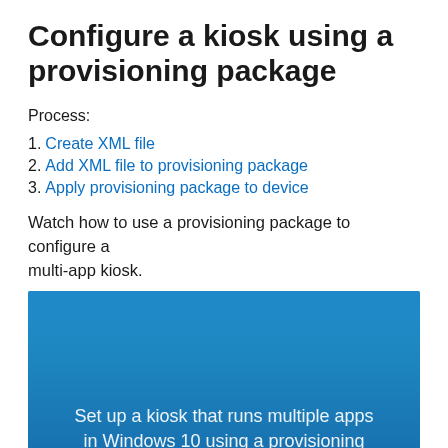Configure a kiosk using a provisioning package
Process:
1. Create XML file
2. Add XML file to provisioning package
3. Apply provisioning package to device
Watch how to use a provisioning package to configure a multi-app kiosk.
[Figure (screenshot): Video thumbnail with blue background showing text: Set up a kiosk that runs multiple apps in Windows 10 using a provisioning package]